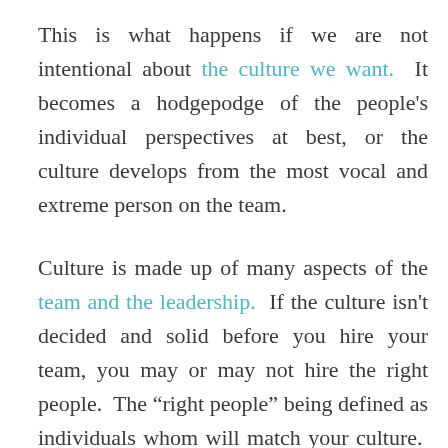This is what happens if we are not intentional about the culture we want.  It becomes a hodgepodge of the people's individual perspectives at best, or the culture develops from the most vocal and extreme person on the team.
Culture is made up of many aspects of the team and the leadership.  If the culture isn't decided and solid before you hire your team, you may or may not hire the right people.  The “right people” being defined as individuals whom will match your culture.  When you start with the